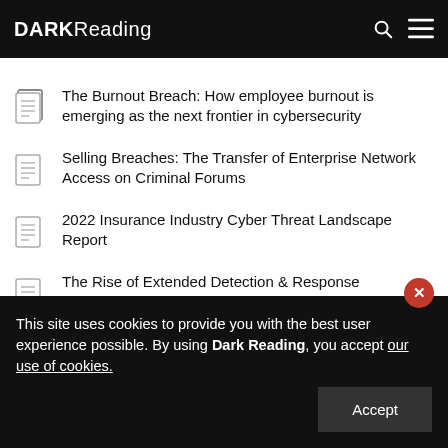DARK Reading
The Burnout Breach: How employee burnout is emerging as the next frontier in cybersecurity
Selling Breaches: The Transfer of Enterprise Network Access on Criminal Forums
2022 Insurance Industry Cyber Threat Landscape Report
The Rise of Extended Detection & Response
This site uses cookies to provide you with the best user experience possible. By using Dark Reading, you accept our use of cookies.